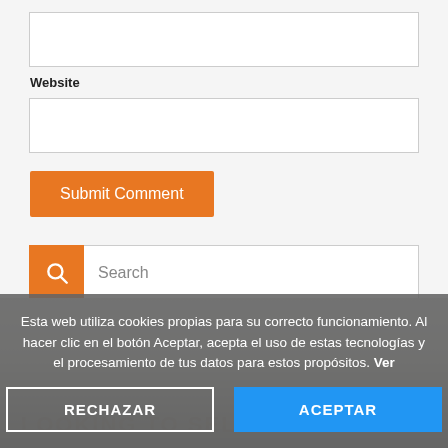[Figure (screenshot): Empty text input box (first field, above Website label)]
Website
[Figure (screenshot): Empty text input box (Website field)]
[Figure (screenshot): Orange 'Submit Comment' button]
[Figure (screenshot): Search bar with orange magnifier icon button and 'Search' placeholder text]
[Figure (photo): Background image of a wooden surface with overlaid text (partially visible)]
Esta web utiliza cookies propias para su correcto funcionamiento. Al hacer clic en el botón Aceptar, acepta el uso de estas tecnologías y el procesamiento de tus datos para estos propósitos. Ver
[Figure (screenshot): RECHAZAR button (white border, transparent background) and ACEPTAR button (blue background) in cookie consent banner]